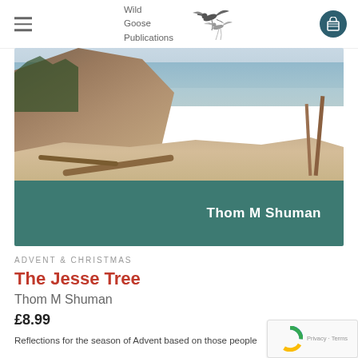Wild Goose Publications
[Figure (photo): Book cover for 'The Jesse Tree' by Thom M Shuman. Top half shows a coastal rocky landscape with sea. Bottom half is a teal/dark green banner with 'Thom M Shuman' in white text on the right.]
ADVENT & CHRISTMAS
The Jesse Tree
Thom M Shuman
£8.99
Reflections for the season of Advent based on those people